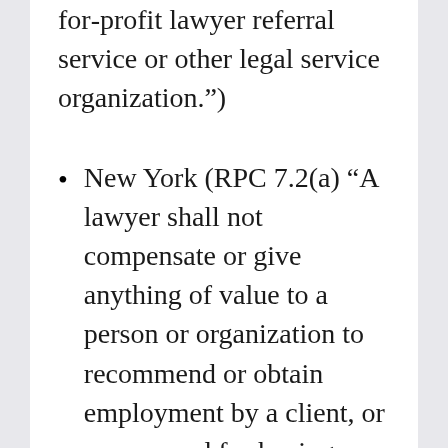for-profit lawyer referral service or other legal service organization.")
New York (RPC 7.2(a) “A lawyer shall not compensate or give anything of value to a person or organization to recommend or obtain employment by a client, or as a reward for having made a recommendation resulting in employment by a client, except that: . . . (2) a lawyer may pay the usual and reasonable fees or dues charged by a qualified